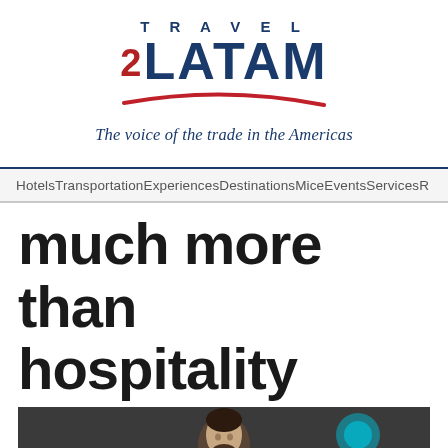[Figure (logo): Travel 2 LATAM logo with red swoosh underline]
The voice of the trade in the Americas
HotelsTransportationExperiencesDestinationsMiceEventsServicesR
much more than hospitality
[Figure (photo): Man in suit jacket smiling, standing in front of a dark background with colorful floral decorations]